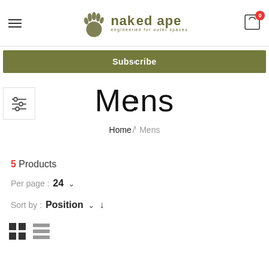naked ape — engineered for outer spaces
Subscribe
Mens
Home / Mens
5 Products
Per page : 24
Sort by : Position